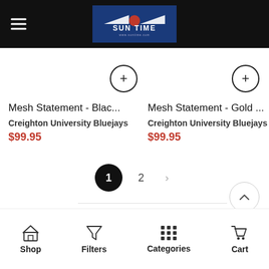Sun Time - www.suntime.com
Mesh Statement - Blac...
Creighton University Bluejays
$99.95
Mesh Statement - Gold ...
Creighton University Bluejays
$99.95
1  2  >
Shop  Filters  Categories  Cart